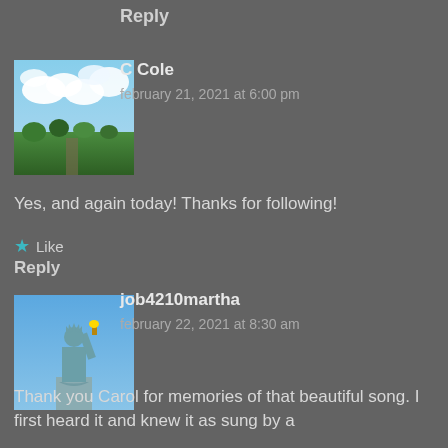Reply
[Figure (photo): Landscape photo with clouds and greenery, used as avatar for C Cole]
C Cole
february 21, 2021 at 6:00 pm
Yes, and again today! Thanks for following!
Like
Reply
[Figure (photo): Photo of the Statue of Liberty against blue sky, used as avatar for job4210martha]
job4210martha
february 22, 2021 at 8:30 am
Thank you Carol for memories of that beautiful song. I first heard it and knew it as sung by a